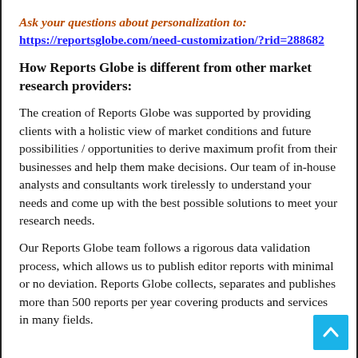Ask your questions about personalization to:
https://reportsglobe.com/need-customization/?rid=288682
How Reports Globe is different from other market research providers:
The creation of Reports Globe was supported by providing clients with a holistic view of market conditions and future possibilities / opportunities to derive maximum profit from their businesses and help them make decisions. Our team of in-house analysts and consultants work tirelessly to understand your needs and come up with the best possible solutions to meet your research needs.
Our Reports Globe team follows a rigorous data validation process, which allows us to publish editor reports with minimal or no deviation. Reports Globe collects, separates and publishes more than 500 reports per year covering products and services in many fields.